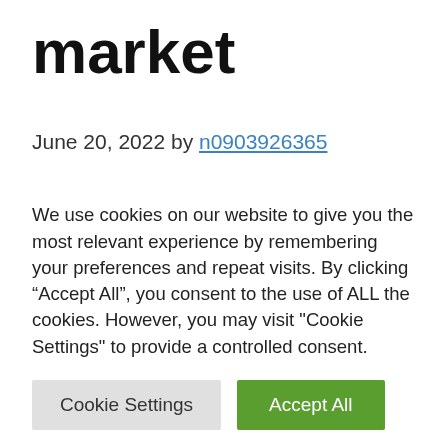market
June 20, 2022 by n0903926365
Luxurious vehicles have been gaining reputation in India these days. There are a number of used automotive sellers who now deal solely in luxurious vehicles. The sudden
We use cookies on our website to give you the most relevant experience by remembering your preferences and repeat visits. By clicking “Accept All”, you consent to the use of ALL the cookies. However, you may visit "Cookie Settings" to provide a controlled consent.